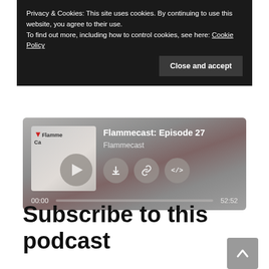Privacy & Cookies: This site uses cookies. By continuing to use this website, you agree to their use.
To find out more, including how to control cookies, see here: Cookie Policy
[Figure (screenshot): Podcast player widget showing 'Flammecast: Episode 27' by Flammecast, with album art, play button, download/link/embed icons, progress bar at 00:00 of 52:52]
Subscribe to this podcast